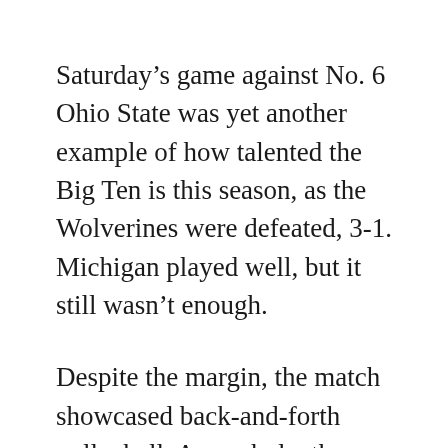Saturday's game against No. 6 Ohio State was yet another example of how talented the Big Ten is this season, as the Wolverines were defeated, 3-1. Michigan played well, but it still wasn't enough.
Despite the margin, the match showcased back-and-forth volleyball. As a whole, the game featured many sideouts, and both teams struggled to score consecutive points. It was the Buckeyes, however, who made the final push. In the final two sets, Ohio State twice